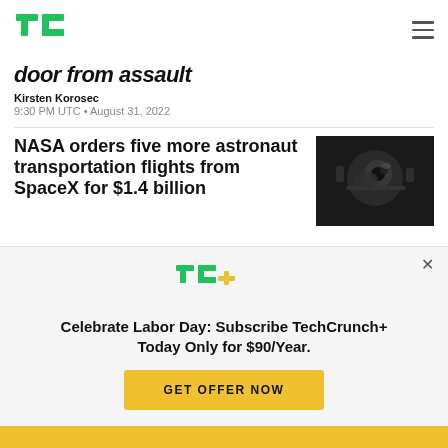TC logo and hamburger menu
door from assault
Kirsten Korosec
9:30 PM UTC • August 31, 2022
NASA orders five more astronaut transportation flights from SpaceX for $1.4 billion
[Figure (photo): Black and white photo of spacecraft/astronaut equipment]
Celebrate Labor Day: Subscribe TechCrunch+ Today Only for $90/Year.
GET OFFER NOW